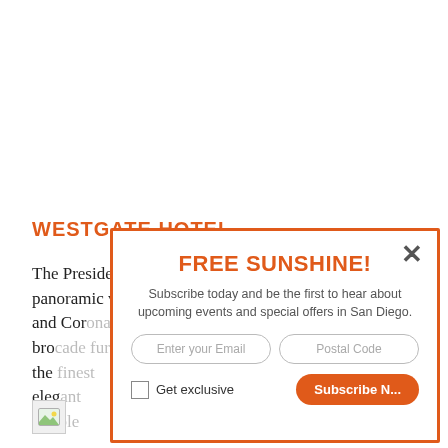WESTGATE HOTEL
The Presidential Suite presents guests with unrivaled panoramic views of downtown San Diego, the Harbor and Cor... bro... the ... eleg... mar...
[Figure (photo): Small photo placeholder icon at bottom left]
[Figure (infographic): Modal popup overlay with orange border. Title: FREE SUNSHINE! Subtitle: Subscribe today and be the first to hear about upcoming events and special offers in San Diego. Contains email input field, postal code input field, checkbox with 'Get exclusive' label, and a Subscribe Now button. Has close X button in top right.]